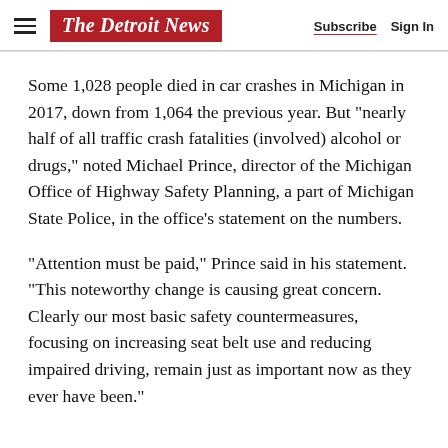The Detroit News — Subscribe | Sign In
Some 1,028 people died in car crashes in Michigan in 2017, down from 1,064 the previous year. But "nearly half of all traffic crash fatalities (involved) alcohol or drugs," noted Michael Prince, director of the Michigan Office of Highway Safety Planning, a part of Michigan State Police, in the office's statement on the numbers.
"Attention must be paid," Prince said in his statement. "This noteworthy change is causing great concern. Clearly our most basic safety countermeasures, focusing on increasing seat belt use and reducing impaired driving, remain just as important now as they ever have been."